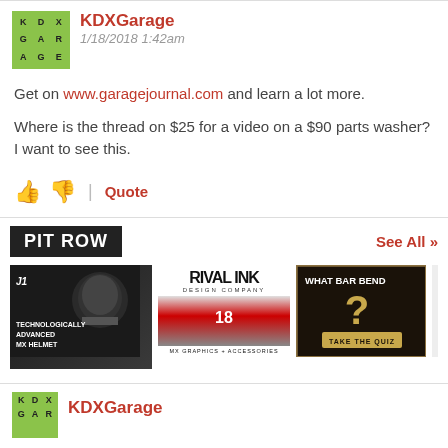[Figure (screenshot): KDXGarage avatar logo: green background grid with letters K D X / G A R / A G E]
KDXGarage
1/18/2018 1:42am
Get on www.garagejournal.com and learn a lot more.
Where is the thread on $25 for a video on a $90 parts washer? I want to see this.
👍 👎 | Quote
PIT ROW
See All »
[Figure (photo): Ad: Technologically Advanced MX Helmet - motocross rider on dark background]
[Figure (photo): Ad: Rival Ink Design Company - MX graphics and accessories with motocross bike]
[Figure (photo): Ad: What Bar Bend - Take the Quiz, dark background with gold question mark]
KDXGarage